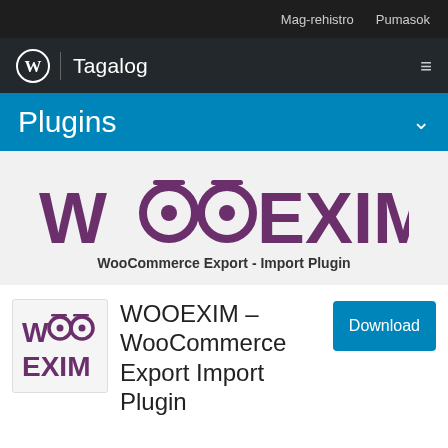Mag-rehistro   Pumasok
Tagalog
Plugins
[Figure (logo): WOOEXIM logo with large stylized purple text and two circles with dots as the letters OO, subtitle: WooCommerce Export - Import Plugin]
[Figure (logo): Small WOOEXIM plugin icon with purple WOO on top and EXIM below]
WOOEXIM – WooCommerce Export Import Plugin
Download